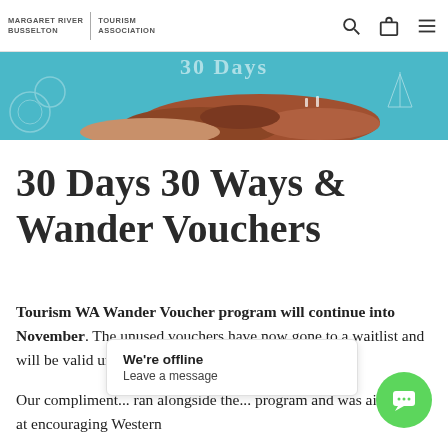MARGARET RIVER BUSSELTON | TOURISM ASSOCIATION
[Figure (photo): Aerial coastal photo showing turquoise water, rocky outcrops, and a sandy beach]
30 Days 30 Ways & Wander Vouchers
Tourism WA Wander Voucher program will continue into November. The unused vouchers have now gone to a waitlist and will be valid until the 20th of November.
Our complimen... ran alongside th... program and was aimed at encouraging Western